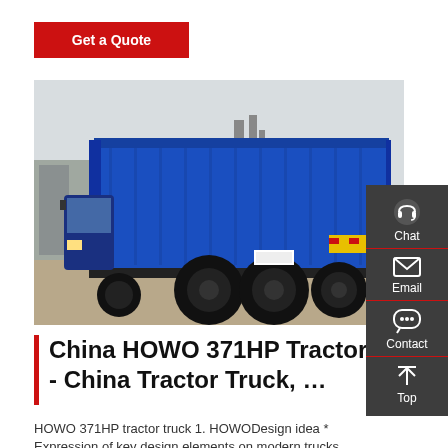Get a Quote
[Figure (photo): Blue HOWO 371HP dump truck photographed from rear-left angle in an industrial yard, showing the large blue cargo box with yellow-red reflective stripes, multiple rear axles and large tires.]
[Figure (infographic): Dark grey side navigation panel with Chat (headset icon), Email (envelope icon), Contact (speech bubble icon), and Top (arrow up icon) options, separated by red horizontal lines.]
China HOWO 371HP Tractor Truck - China Tractor Truck, ...
HOWO 371HP tractor truck 1. HOWODesign idea * Expression of key design elements on modern trucks